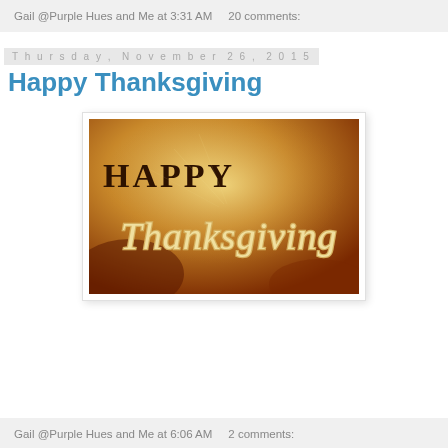Gail @Purple Hues and Me at 3:31 AM    20 comments:
Thursday, November 26, 2015
Happy Thanksgiving
[Figure (illustration): Happy Thanksgiving greeting card image with golden-brown textured background. Bold serif text reads HAPPY at the top in dark brown, and below it in large decorative script: Thanksgiving]
Gail @Purple Hues and Me at 6:06 AM    2 comments: